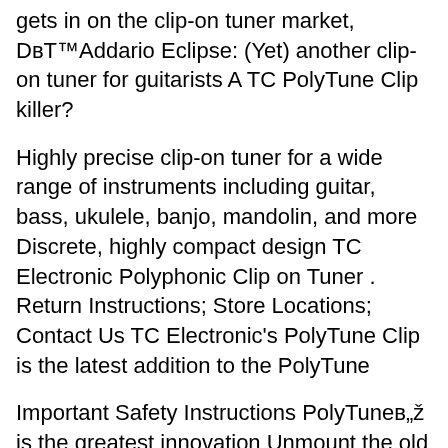gets in on the clip-on tuner market, D'Addario Eclipse: (Yet) another clip-on tuner for guitarists A TC PolyTune Clip killer?
Highly precise clip-on tuner for a wide range of instruments including guitar, bass, ukulele, banjo, mandolin, and more Discrete, highly compact design TC Electronic Polyphonic Clip on Tuner . Return Instructions; Store Locations; Contact Us TC Electronic's PolyTune Clip is the latest addition to the PolyTune
Important Safety Instructions PolyTune™ is the greatest innovation Unmount the old battery and attach the new battery to the battery clip making